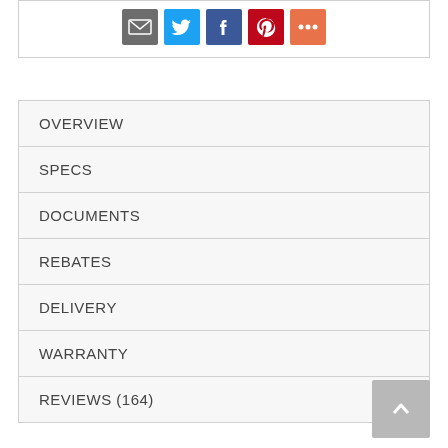[Figure (infographic): Social share icons: email (grey), Twitter (blue), Facebook (dark blue), Pinterest (red), More (orange)]
OVERVIEW
SPECS
DOCUMENTS
REBATES
DELIVERY
WARRANTY
REVIEWS (164)